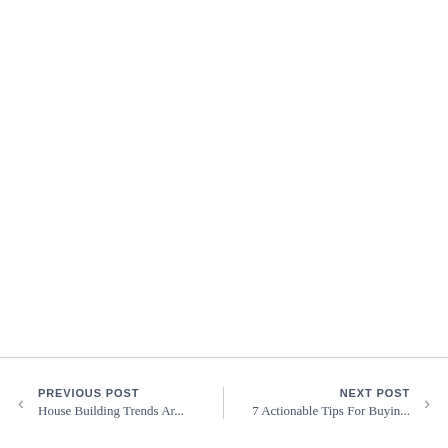PREVIOUS POST | House Building Trends Ar... | NEXT POST | 7 Actionable Tips For Buyin...